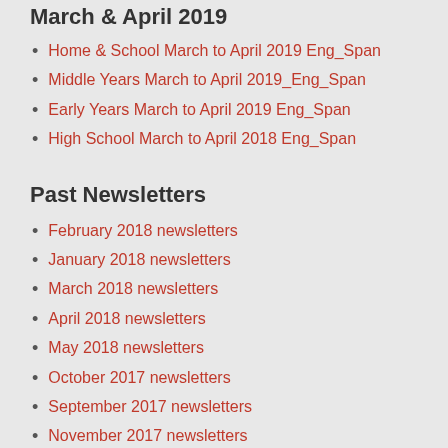March & April 2019
Home & School March to April 2019 Eng_Span
Middle Years March to April 2019_Eng_Span
Early Years March to April 2019 Eng_Span
High School March to April 2018 Eng_Span
Past Newsletters
February 2018 newsletters
January 2018 newsletters
March 2018 newsletters
April 2018 newsletters
May 2018 newsletters
October 2017 newsletters
September 2017 newsletters
November 2017 newsletters
December 2017 newsletters